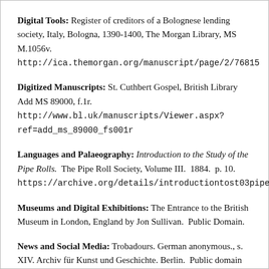Digital Tools: Register of creditors of a Bolognese lending society, Italy, Bologna, 1390-1400, The Morgan Library, MS M.1056v. http://ica.themorgan.org/manuscript/page/2/76815
Digitized Manuscripts: St. Cuthbert Gospel, British Library Add MS 89000, f.1r. http://www.bl.uk/manuscripts/Viewer.aspx?ref=add_ms_89000_fs001r
Languages and Palaeography: Introduction to the Study of the Pipe Rolls. The Pipe Roll Society, Volume III. 1884. p. 10. https://archive.org/details/introductiontost03pipe
Museums and Digital Exhibitions: The Entrance to the British Museum in London, England by Jon Sullivan. Public Domain.
News and Social Media: Trobadours. German anonymous., s. XIV. Archiv für Kunst und Geschichte. Berlin. Public domain